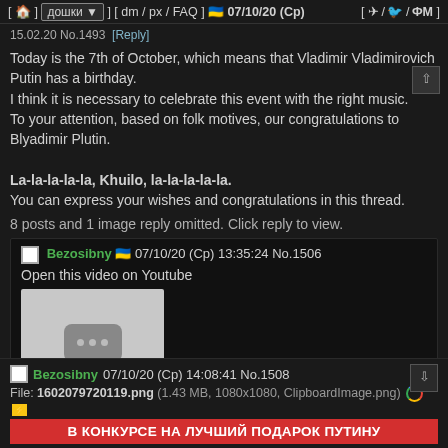[ 🏠 ] [ дошки ▼ ] [ dm / px / FAQ ] 🇺🇦 07/10/20 (Ср)   [ ✈ / 🐦 / ФМ ]
15.02.20 No.1493  [Reply]
Today is the 7th of October, which means that Vladimir Vladimirovich Putin has a birthday.
I think it is necessary to celebrate this event with the right music.
To your attention, based on folk motives, our congratulations to Blyadimir Plutin.

La-la-la-la-la, Khuilo, la-la-la-la-la.
You can express your wishes and congratulations in this thread.
8 posts and 1 image reply omitted. Click reply to view.
Bezosibny 🇺🇦 07/10/20 (Ср) 13:35:24 No.1506
Open this video on Youtube
[Figure (screenshot): YouTube video thumbnail placeholder with grey background and play button icon with three dots]
Bezosibny 07/10/20 (Ср) 14:08:41 No.1508
File: 1602079720119.png (1.43 MB, 1080x1080, ClipboardImage.png)
В КОНКУРСЕ НА ЛУЧШИЙ ПОДАРОК ПУТИНУ